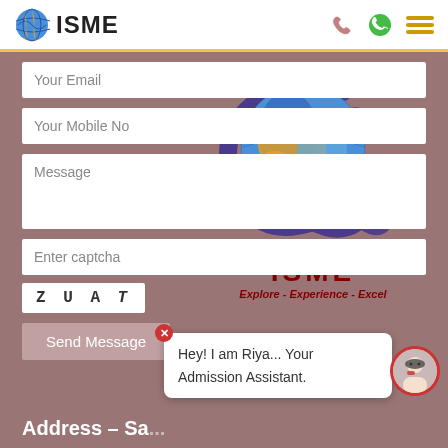ISME
Your Email
Your Mobile No
Message
Enter captcha
ZUAT
Send Message
[Figure (logo): ISME globe logo with tagline Explore - Experience - Excel]
Hey! I am Riya... Your Admission Assistant.
Address – Sa...